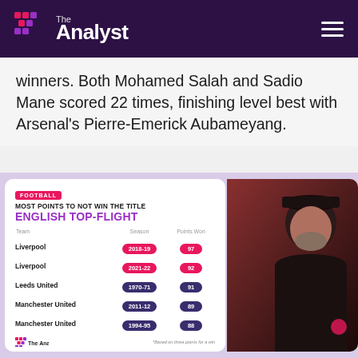[Figure (logo): The Analyst logo with pink/purple grid icon on dark purple header bar with hamburger menu]
winners. Both Mohamed Salah and Sadio Mane scored 22 times, finishing level best with Arsenal's Pierre-Emerick Aubameyang.
[Figure (infographic): Infographic: Most Points to Not Win the Title - English Top-Flight. Table listing: Liverpool 2018-19 97pts, Liverpool 2021-22 92pts, Leeds United 1970-71 91pts, Manchester United 2011-12 89pts, Manchester United 1994-95 88pts. Includes photo of Jurgen Klopp. *Based on three points for a win]